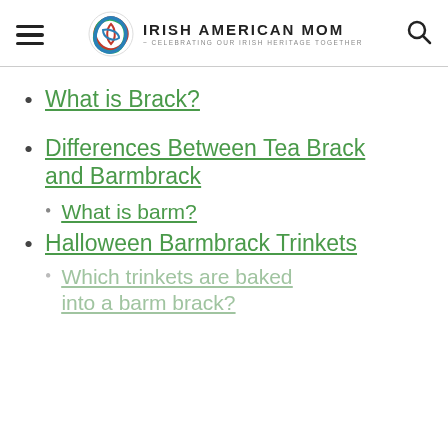Irish American Mom - Celebrating Our Irish Heritage Together
What is Brack?
Differences Between Tea Brack and Barmbrack
What is barm?
Halloween Barmbrack Trinkets
Which trinkets are baked into a barm brack?